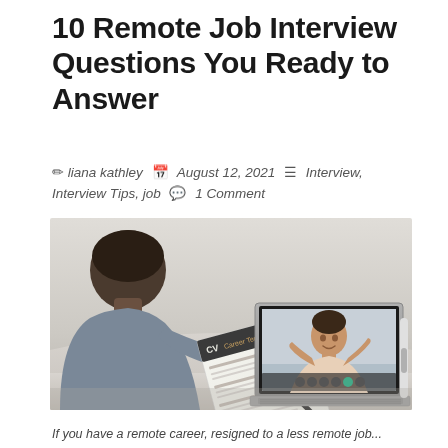10 Remote Job Interview Questions You Ready to Answer
✏ liana kathley  📅 August 12, 2021  ☰ Interview, Interview Tips, job  💬 1 Comment
[Figure (photo): A person sitting at a desk holding a CV resume document, with an open laptop showing a video call with another person on screen — depicting a remote job interview scenario.]
If you have a remote career, resigned to a less remote job...